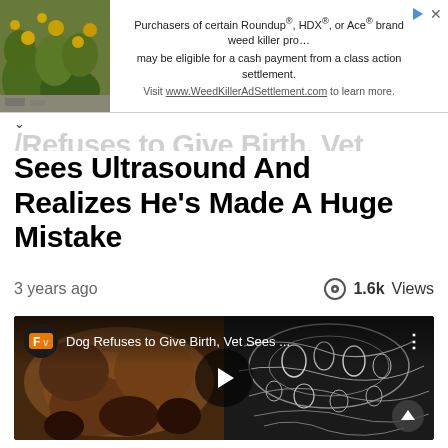[Figure (screenshot): Advertisement banner for Roundup/HDX/Ace weed killer class action settlement with plant image on left]
...Refuses to Give Birth, Vet Sees Ultrasound And Realizes He's Made A Huge Mistake
3 years ago
1.6k Views
[Figure (screenshot): Video thumbnail showing dog belly on left and x-ray/ultrasound image on right with FV logo and title 'Dog Refuses to Give Birth, Vet Sees ...']